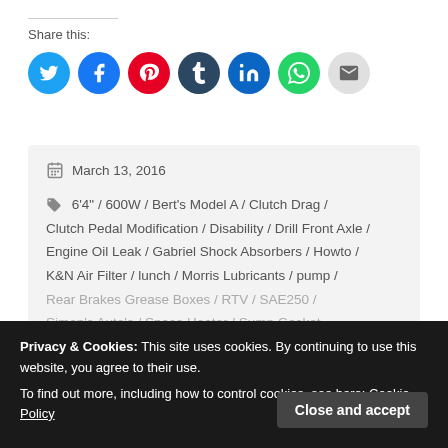Share this:
[Figure (infographic): Row of social share icon buttons: Twitter (blue), Facebook (blue), Pinterest (red), Tumblr (dark navy), LinkedIn (dark blue), WhatsApp (green), Email (grey)]
March 13, 2016
6'4" / 600W / Bert's Model A / Clutch Drag / Clutch Pedal Modification / Disability / Drill Front Axle / Engine Oil Leak / Gabriel Shock Absorbers / Howto / K&N Air Filter / lunch / Morris Lubricants / pump / Rear Brakes Grease Boxes / RTV / SAE250 / Simon's Auto's / Space Heater / Sump Gasket
Privacy & Cookies: This site uses cookies. By continuing to use this website, you agree to their use.
To find out more, including how to control cookies, see here: Cookie Policy